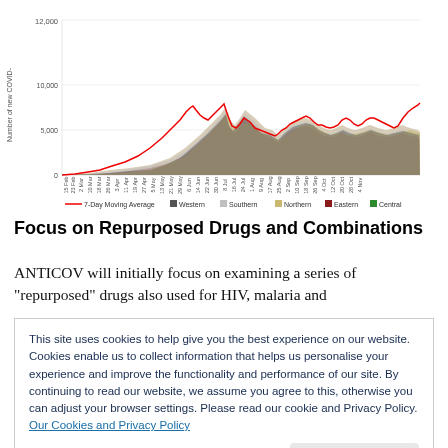[Figure (continuous-plot): Stacked area/bar chart showing number of new COVID cases over time from Feb to Nov, with a red 7-day moving average line. Regions: Western (dark grey), Southern (light grey), Northern (tan/gold), Eastern (dark red), Central (green). Y-axis goes from 0 to ~12,000+. X-axis shows dates from 15 Feb through 4 Nov.]
Focus on Repurposed Drugs and Combinations
ANTICOV will initially focus on examining a series of "repurposed" drugs also used for HIV, malaria and
This site uses cookies to help give you the best experience on our website. Cookies enable us to collect information that helps us personalise your experience and improve the functionality and performance of our site. By continuing to read our website, we assume you agree to this, otherwise you can adjust your browser settings. Please read our cookie and Privacy Policy. Our Cookies and Privacy Policy
cutting-edge monoclonal antibody treatments such as